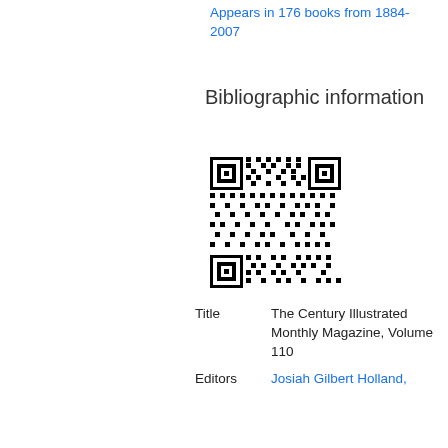Appears in 176 books from 1884-2007
Bibliographic information
[Figure (other): QR code for bibliographic information]
| Title | The Century Illustrated Monthly Magazine, Volume 110 |
| Editors | Josiah Gilbert Holland, |